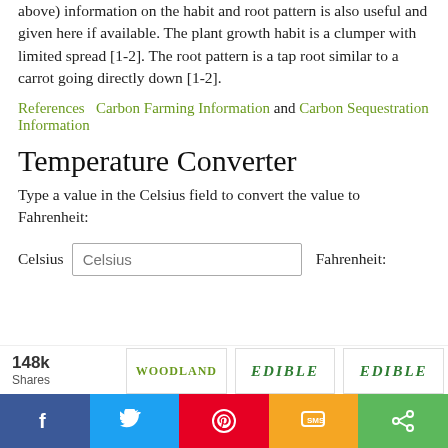above) information on the habit and root pattern is also useful and given here if available. The plant growth habit is a clumper with limited spread [1-2]. The root pattern is a tap root similar to a carrot going directly down [1-2].
References   Carbon Farming Information and Carbon Sequestration Information
Temperature Converter
Type a value in the Celsius field to convert the value to Fahrenheit:
Celsius  [Celsius input field]  Fahrenheit:
148k Shares  WOODLAND  EDIBLE  EDIBLE  [social share buttons: Facebook, Twitter, Pinterest, SMS, Share]